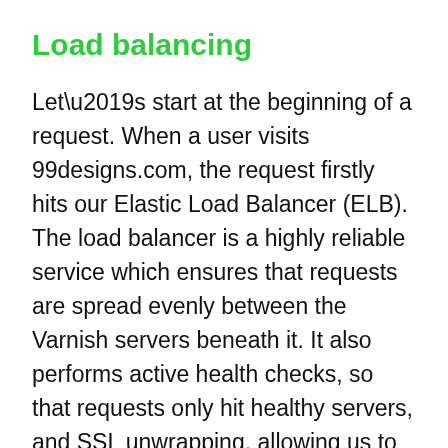Load balancing
Let’s start at the beginning of a request. When a user visits 99designs.com, the request firstly hits our Elastic Load Balancer (ELB). The load balancer is a highly reliable service which ensures that requests are spread evenly between the Varnish servers beneath it. It also performs active health checks, so that requests only hit healthy servers, and SSL unwrapping, allowing us to work with an unencrypted stack from there on down. On the SSL front, using a separate ELB for each domain turns out to be a convenient way of running multiple secure